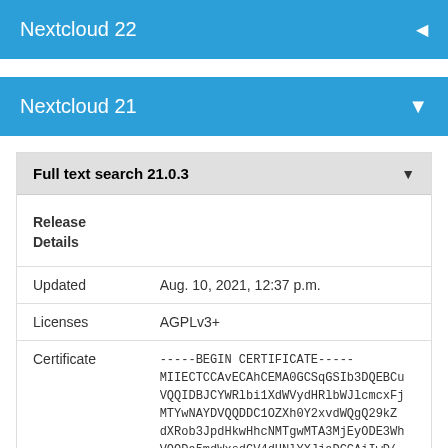Nextcloud 22
Nextcloud 21
Full text search 21.0.3
|  |  |
| --- | --- |
| Release
Details |  |
| Updated | Aug. 10, 2021, 12:37 p.m. |
| Licenses | AGPLv3+ |
| Certificate | -----BEGIN CERTIFICATE-----
MIIECTCCAvECAhCEMA0GCSqGSIb3DQEBCu
VQQIDBJCYWRlbi1XdWVydHRlbWJlcmcxFj
MTYwNAYDVQQDDC1OZXh0Y2xvdWQgQ29kZ
dXRob3JpdHkwHhcNMTgwMTA3MjEyODE3Wh
VQQDA5mdWxsdGV4dHNlYXJjaDCCAiIwD( |